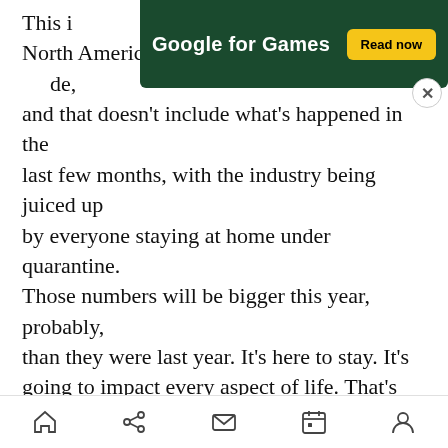[Figure (screenshot): Google for Games advertisement banner with dark green background, white bold text 'Google for Games', yellow 'Read now' button, and a close (X) button]
This i[s ...] North America, a $160 billion business worldwide, and that doesn't include what's happened in the last few months, with the industry being juiced up by everyone staying at home under quarantine. Those numbers will be bigger this year, probably, than they were last year. It's here to stay. It's going to impact every aspect of life. That's why you see Amazon or Google or Facebook or Apple wanting to get in on this, because this is where a lot of contemporary entertainment occurs in homes across the world.
I'm happy to see them get in. Every chorus is strengthened by more voices. But I also think they
[Figure (screenshot): Mobile browser bottom navigation bar with home, share, mail, calendar, and profile icons]